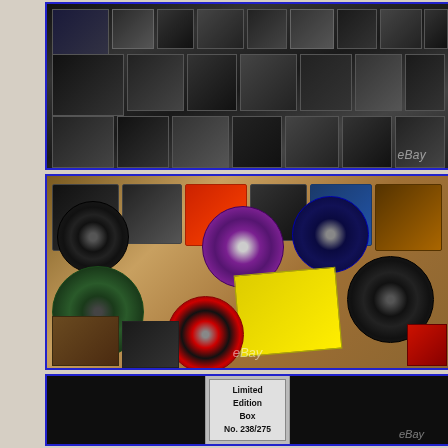[Figure (photo): Top photo panel: collage of band/concert photos with many small images of musicians and performers, dark background, eBay watermark visible]
[Figure (photo): Middle photo panel: collage showing vinyl records (colored and black), album covers, and music memorabilia on a wood-toned background, eBay watermark visible]
[Figure (photo): Bottom photo panel: dark background with a label card reading 'Limited Edition Box No. 238/275', eBay watermark visible]